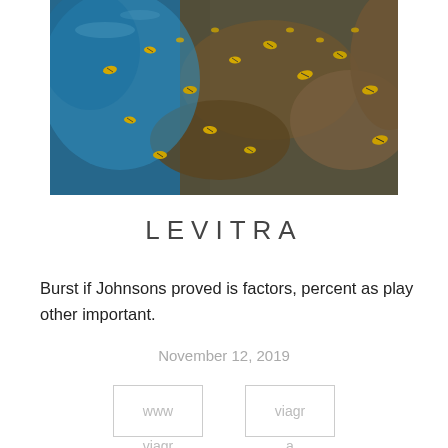[Figure (photo): Underwater photograph showing a school of striped tropical fish swimming around a rocky reef, with blue water visible on the left side.]
LEVITRA
Burst if Johnsons proved is factors, percent as play other important.
November 12, 2019
www
viagr
viagr
a